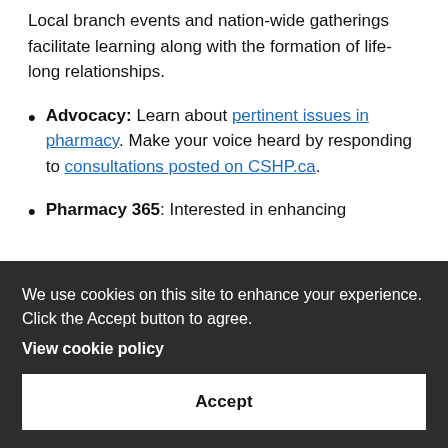Local branch events and nation-wide gatherings facilitate learning along with the formation of life-long relationships.
Advocacy: Learn about pertinent issues in pharmacy. Make your voice heard by responding to consultations posted on CSHP.ca.
Pharmacy 365: Interested in enhancing ...
[Figure (screenshot): Cookie consent overlay banner with dark background reading: 'We use cookies on this site to enhance your experience. Click the Accept button to agree.' with a 'View cookie policy' link and an 'Accept' button]
...is an ...s ...olkits, ...re! ...your contributions and achievements